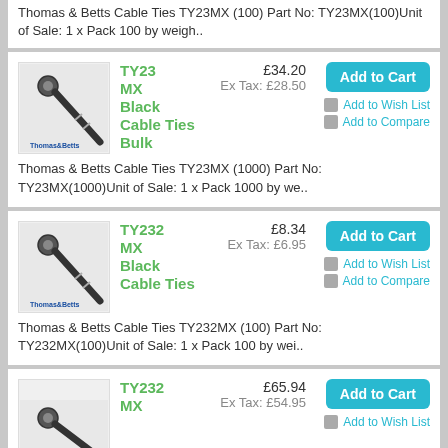Thomas & Betts Cable Ties TY23MX (100) Part No: TY23MX(100)Unit of Sale: 1 x Pack 100 by weigh..
[Figure (photo): Thomas & Betts cable tie product image]
TY23 MX Black Cable Ties Bulk £34.20 Ex Tax: £28.50
Add to Cart | Add to Wish List | Add to Compare
Thomas & Betts Cable Ties TY23MX (1000) Part No: TY23MX(1000)Unit of Sale: 1 x Pack 1000 by we..
[Figure (photo): Thomas & Betts cable tie product image]
TY232 MX Black Cable Ties £8.34 Ex Tax: £6.95
Add to Cart | Add to Wish List | Add to Compare
Thomas & Betts Cable Ties TY232MX (100) Part No: TY232MX(100)Unit of Sale: 1 x Pack 100 by wei..
[Figure (photo): Thomas & Betts cable tie product image]
TY232 MX £65.94 Ex Tax: £54.95
Add to Cart | Add to Wish List